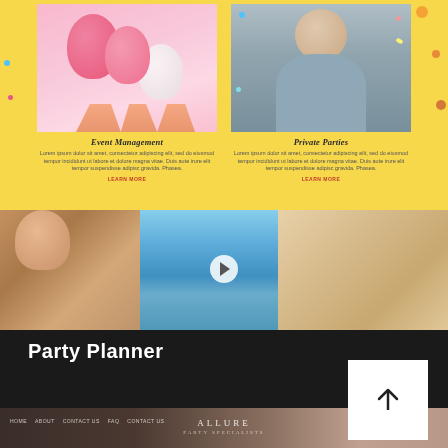[Figure (screenshot): Yellow background section with two service cards. Left card shows pink balloons image with title 'Event Management' and lorem ipsum description with 'LEARN MORE' link. Right card shows a young man with confetti with title 'Private Parties' and lorem ipsum description with 'LEARN MORE' link. Decorative orange dots on edges.]
[Figure (photo): Pool party photo showing three people near a swimming pool. A smiling woman with dark hair in center, a blonde woman on right, another person on left. A play button overlay in center.]
Party Planner
[Figure (screenshot): White square button with an upward-pointing arrow icon, positioned in bottom right of black section.]
[Figure (screenshot): Bottom preview strip showing a website screenshot with navigation items (HOME, ABOUT, CONTACT US, FAQ, CONTACT US) and centered ALLURE logo text with subtitle.]